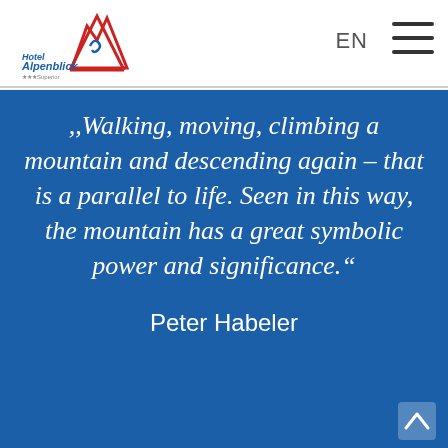[Figure (logo): Hotel Alpenblick logo with mountain/triangle shape in red and blue, text 'Hotel Alpenblick' in handwritten style, '***Superior' below]
EN  ☰
,,Walking, moving, climbing a mountain and descending again – that is a parallel to life. Seen in this way, the mountain has a great symbolic power and significance."
Peter Habeler